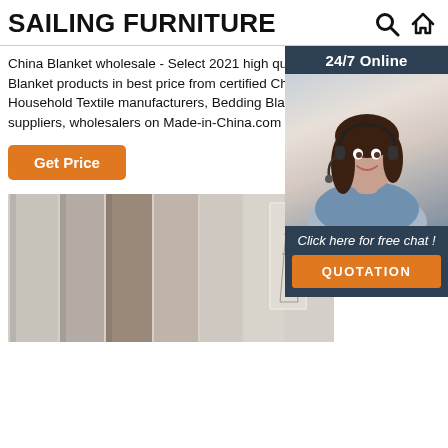SAILING FURNITURE
China Blanket wholesale - Select 2021 high quality Blanket products in best price from certified Chinese Household Textile manufacturers, Bedding Blanket suppliers, wholesalers on Made-in-China.com
[Figure (infographic): 24/7 Online support widget with photo of woman with headset and buttons for free chat and quotation]
[Figure (photo): Banner image showing curtains/drapes in various colors with Eiffel Tower artwork and a framed picture]